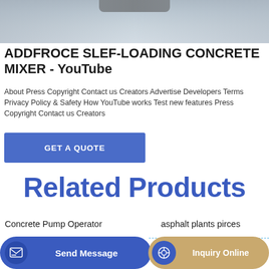[Figure (photo): Photo of a concrete mixer machine, showing part of the machinery with a dark axle/bar visible at the top, on a light surface.]
ADDFROCE SLEF-LOADING CONCRETE MIXER - YouTube
About Press Copyright Contact us Creators Advertise Developers Terms Privacy Policy & Safety How YouTube works Test new features Press Copyright Contact us Creators
GET A QUOTE
Related Products
Concrete Pump Operator
asphalt plants pirces
Pr
Send Message
Inquiry Online